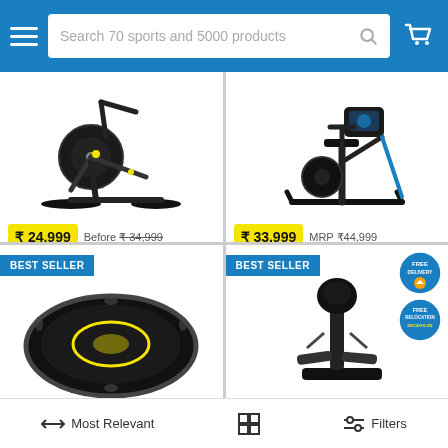Search 70 sports and 5000 products
[Figure (photo): Elliptical Cross Trainer 500 Black exercise machine]
₹ 24,999  Before ₹34,999
Elliptical Cross Trainer 500 Black
4.6/5 ★
[Figure (photo): Exercise Bike Self Powered and Connected exercise machine]
₹ 33,999  MRP ₹44,999
Exercise Bike Self Powered and Con...
4.4/5 ★
[Figure (photo): BEST SELLER trampoline product]
[Figure (photo): BEST SELLER fitness product with FREE DELIVERY badge]
Most Relevant    Filters